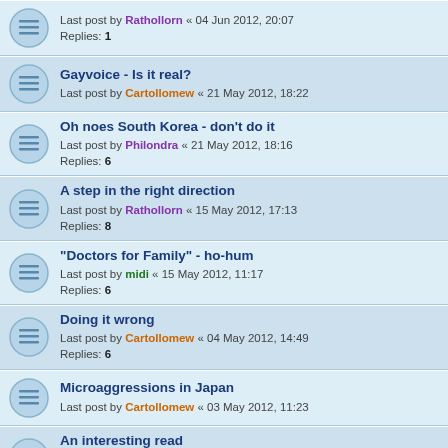Last post by Rathollorn « 04 Jun 2012, 20:07 Replies: 1
Gayvoice - Is it real? Last post by Cartollomew « 21 May 2012, 18:22
Oh noes South Korea - don't do it Last post by Philondra « 21 May 2012, 18:16 Replies: 6
A step in the right direction Last post by Rathollorn « 15 May 2012, 17:13 Replies: 8
"Doctors for Family" - ho-hum Last post by midi « 15 May 2012, 11:17 Replies: 6
Doing it wrong Last post by Cartollomew « 04 May 2012, 14:49 Replies: 6
Microaggressions in Japan Last post by Cartollomew « 03 May 2012, 11:23
An interesting read Last post by Handofdesu « 01 May 2012, 18:59 Replies: 9
HDMI Cable - Worlds Most Expensive! Last post by Cartollomew « 30 Apr 2012, 11:52 Replies: 1
iiNet Wins High Court Appeal Last post by Derathius « 20 Apr 2012, 12:58